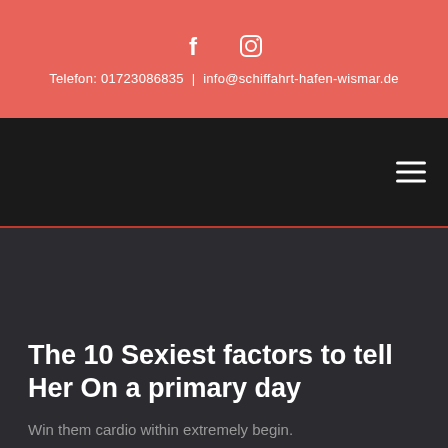f  [Instagram icon]
Telefon: 01723086835  |  info@schiffahrt-hafen-wismar.de
[Figure (screenshot): Dark navigation bar with hamburger menu icon on the right]
The 10 Sexiest factors to tell Her On a primary day
Win them cardio within extremely begin.